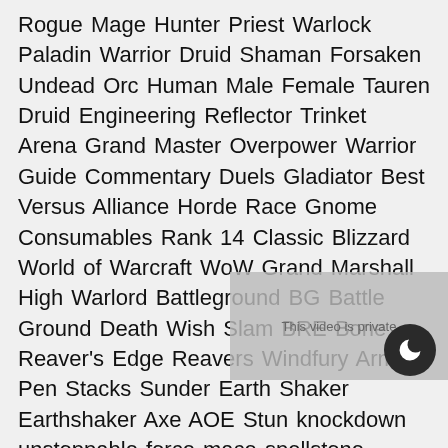Rogue Mage Hunter Priest Warlock Paladin Warrior Druid Shaman Forsaken Undead Orc Human Male Female Tauren Druid Engineering Reflector Trinket Arena Grand Master Overpower Warrior Guide Commentary Duels Gladiator Best Versus Alliance Horde Race Gnome Consumables Rank 14 Classic Blizzard World of Warcraft WoW Grand Marshall High Warlord Battleground BG Battle Ground Death Wish Slam BRE Bone Reaver's Edge Reavers Windfury Armor Pen Stacks Sunder Earth Shaker Earthshaker Axe AOE Stun knockdown unstoppable force mace spellstone healthstone destro lock spec pet felhunter sucubuss sacrifice seduction spell subtlety assassination mutilate combat killing spree vanish sprint talents evasion goblin sapper charge co subtlety hemo hemorrhage repentance rep holy prot